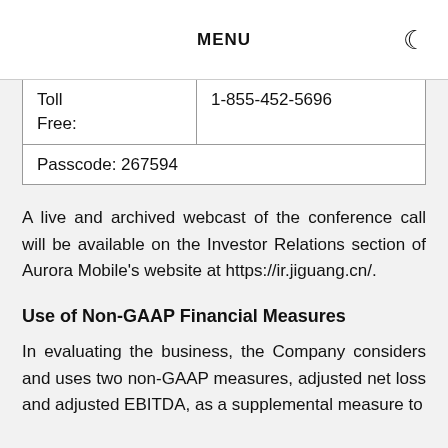MENU
| Toll Free: | 1-855-452-5696 |
| Passcode: | 267594 |
A live and archived webcast of the conference call will be available on the Investor Relations section of Aurora Mobile's website at https://ir.jiguang.cn/.
Use of Non-GAAP Financial Measures
In evaluating the business, the Company considers and uses two non-GAAP measures, adjusted net loss and adjusted EBITDA, as a supplemental measure to